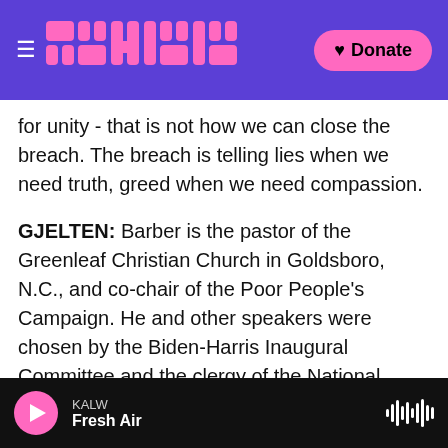KALW | Fresh Air — NPR article page with logo and Donate button
for unity - that is not how we can close the breach. The breach is telling lies when we need truth, greed when we need compassion.
GJELTEN: Barber is the pastor of the Greenleaf Christian Church in Goldsboro, N.C., and co-chair of the Poor People's Campaign. He and other speakers were chosen by the Biden-Harris Inaugural Committee and the clergy of the National Cathedral, which hosts the prayer service. For the first time, two transgender faith leaders participated. But though Joe Biden is the first Catholic president in 60 years, no Catholic priest
KALW  Fresh Air